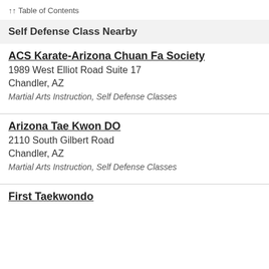↑↑ Table of Contents
Self Defense Class Nearby
ACS Karate-Arizona Chuan Fa Society
1989 West Elliot Road Suite 17
Chandler, AZ
Martial Arts Instruction, Self Defense Classes
Arizona Tae Kwon DO
2110 South Gilbert Road
Chandler, AZ
Martial Arts Instruction, Self Defense Classes
First Taekwondo